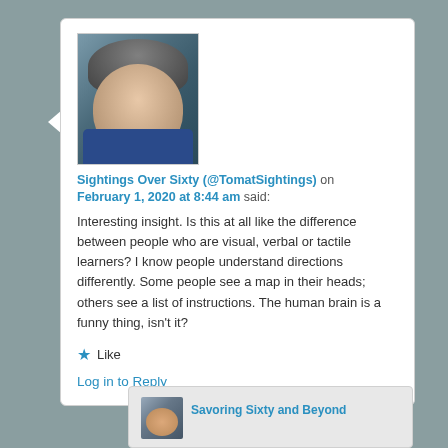[Figure (photo): Profile photo of a middle-aged man with gray hair, smiling, wearing a dark blue jacket, outdoors background]
Sightings Over Sixty (@TomatSightings) on February 1, 2020 at 8:44 am said:
Interesting insight. Is this at all like the difference between people who are visual, verbal or tactile learners? I know people understand directions differently. Some people see a map in their heads; others see a list of instructions. The human brain is a funny thing, isn't it?
★ Like
Log in to Reply
Savoring Sixty and Beyond